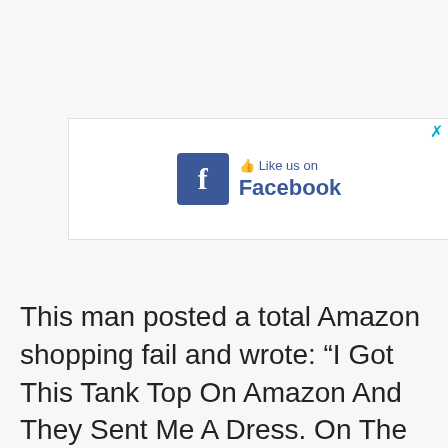[Figure (screenshot): Facebook 'Like us on Facebook' advertisement banner with Facebook logo (blue square with white F), thumbs up icon, text 'Like us on' and 'Facebook' in blue, with a cyan X close button in top right corner.]
This man posted a total Amazon shopping fail and wrote: “I Got This Tank Top On Amazon And They Sent Me A Dress. On The Plus Side, It Does Make My A** Look Great”